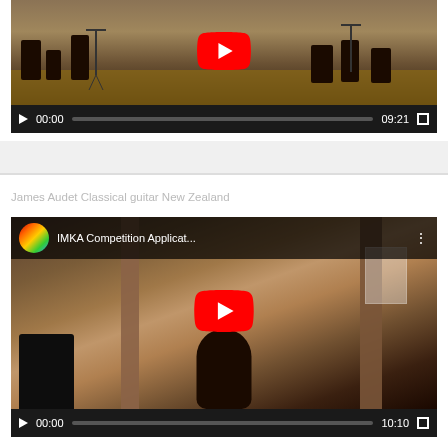[Figure (screenshot): YouTube video player showing a music ensemble performance in a room with wooden floors. Controls show 00:00 / 09:21 time and a progress bar.]
James Audet Classical guitar New Zealand
[Figure (screenshot): YouTube video player showing 'IMKA Competition Applicat...' with avatar icon and a person playing classical guitar in a room. Controls show 00:00 / 10:10 time and a progress bar.]